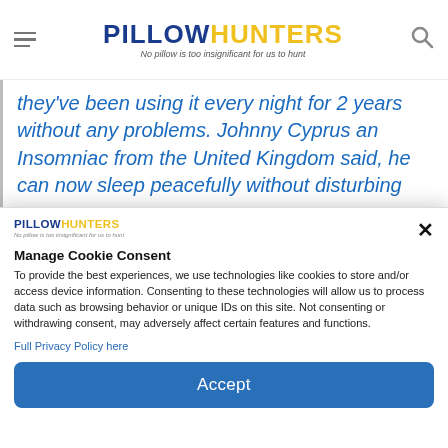PILLOWHUNTERS - No pillow is too insignificant for us to hunt
they've been using it every night for 2 years without any problems. Johnny Cyprus an Insomniac from the United Kingdom said, he can now sleep peacefully without disturbing
PILLOWHUNTERS - No pillow is too insignificant for us to hunt
Manage Cookie Consent
To provide the best experiences, we use technologies like cookies to store and/or access device information. Consenting to these technologies will allow us to process data such as browsing behavior or unique IDs on this site. Not consenting or withdrawing consent, may adversely affect certain features and functions.
Full Privacy Policy here
Accept